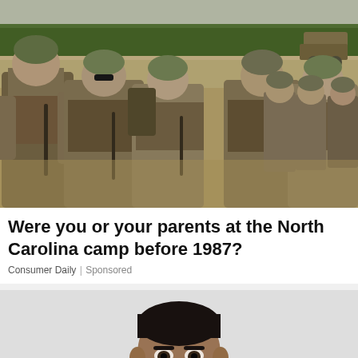[Figure (photo): Group of military soldiers in camouflage gear and tactical vests marching across a sandy terrain with trees and a vehicle in the background.]
Were you or your parents at the North Carolina camp before 1987?
Consumer Daily | Sponsored
[Figure (photo): Close-up mugshot-style photo of a man's face against a light grey background.]